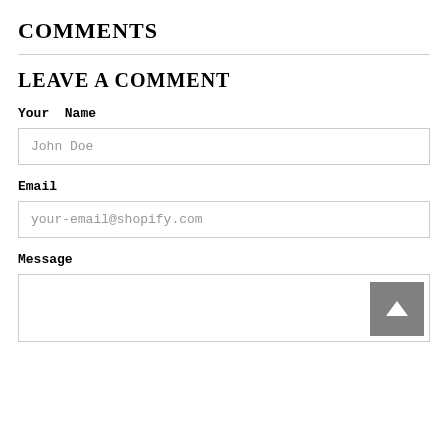COMMENTS
LEAVE A COMMENT
Your  Name
John Doe
Email
your-email@shopify.com
Message